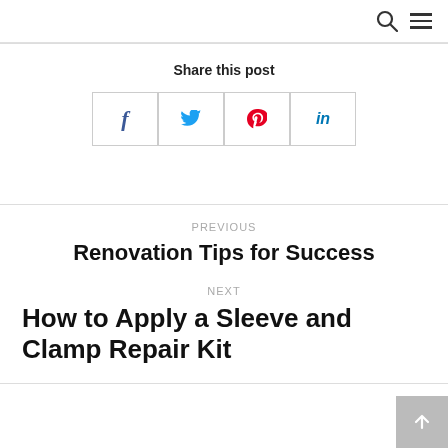[search icon] [menu icon]
Share this post
[Figure (infographic): Four social share buttons: Facebook (f), Twitter (bird), Pinterest (p), LinkedIn (in)]
PREVIOUS
Renovation Tips for Success
NEXT
How to Apply a Sleeve and Clamp Repair Kit